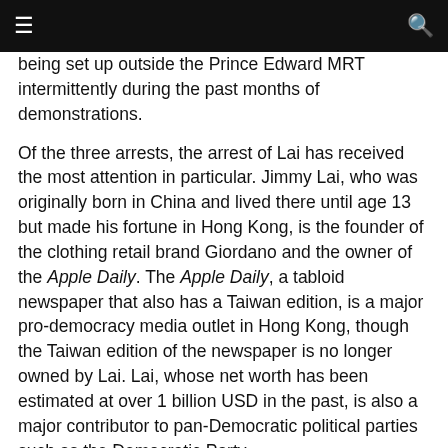☰  [navigation bar]  🔍
being set up outside the Prince Edward MRT intermittently during the past months of demonstrations.
Of the three arrests, the arrest of Lai has received the most attention in particular. Jimmy Lai, who was originally born in China and lived there until age 13 but made his fortune in Hong Kong, is the founder of the clothing retail brand Giordano and the owner of the Apple Daily. The Apple Daily, a tabloid newspaper that also has a Taiwan edition, is a major pro-democracy media outlet in Hong Kong, though the Taiwan edition of the newspaper is no longer owned by Lai. Lai, whose net worth has been estimated at over 1 billion USD in the past, is also a major contributor to pan-Democratic political parties such as the Democratic Party.